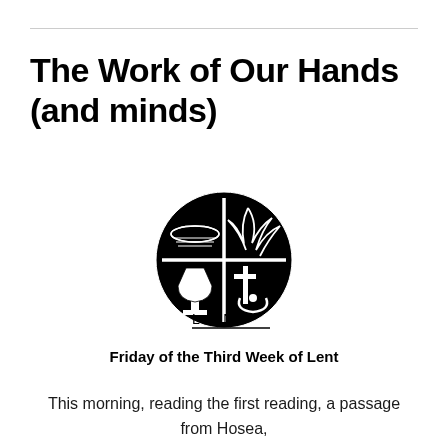The Work of Our Hands (and minds)
[Figure (logo): Lent logo: circular black emblem divided into quadrants showing a bowl of grain/fish, a palm frond, a chalice, and a cross/anchor, with the word LENT beneath in spaced capital letters and a horizontal rule underline]
Friday of the Third Week of Lent
This morning, reading the first reading, a passage from Hosea,